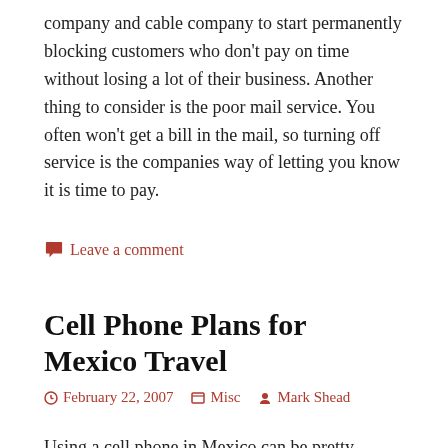company and cable company to start permanently blocking customers who don't pay on time without losing a lot of their business. Another thing to consider is the poor mail service. You often won't get a bill in the mail, so turning off service is the companies way of letting you know it is time to pay.
Leave a comment
Cell Phone Plans for Mexico Travel
February 22, 2007   Misc   Mark Shead
Using a cell phone in Mexico can be pretty expensive if you aren't careful. This page gives you a summary of what we